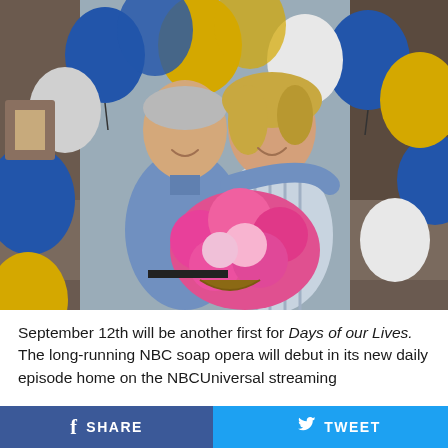[Figure (photo): An older couple standing together holding a large bouquet of pink flowers, surrounded by blue, gold, and white balloons in what appears to be a restaurant or bar setting.]
September 12th will be another first for Days of our Lives. The long-running NBC soap opera will debut in its new daily episode home on the NBCUniversal streaming